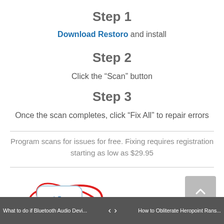Step 1
Download Restoro and install
Step 2
Click the “Scan” button
Step 3
Once the scan completes, click “Fix All” to repair errors
Program scans for issues for free. Fixing requires registration starting as low as $29.95
[Figure (logo): Restoro logo: gear icon inside a rounded square with red swirl orbits]
Compatible with all Windows versions, including Windows 11
What to do if Bluetooth Audio Devi... < > How to Obliterate Heropoint Rans...